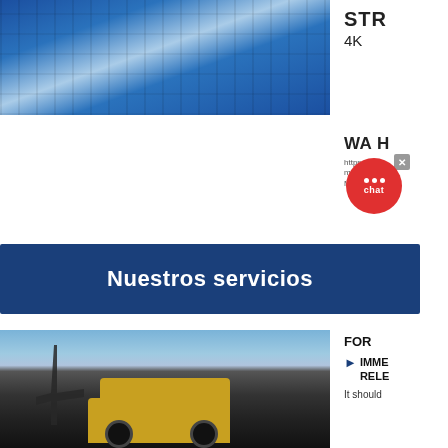[Figure (photo): Industrial blue steel structure/conveyor facility photograph]
STR
4K
WA H
https://zz... match-Oh...
Milton+vs.
[Figure (screenshot): Chat popup overlay with X close button and red circle with dots and 'chat' label]
Nuestros servicios
[Figure (photo): Mining site photograph with large yellow dump truck and crane, coal/ore surroundings]
FOR
IMME
RELE
It should